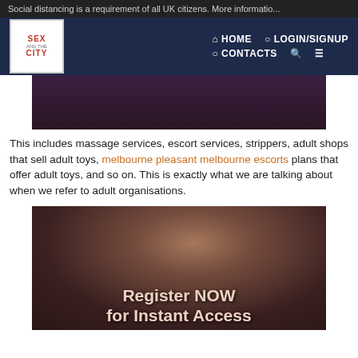Social distancing is a requirement of all UK citizens. More informatio...
[Figure (screenshot): Website navigation header with Sex and the City logo, HOME, LOGIN/SIGNUP, CONTACTS nav links]
[Figure (photo): Partial cropped image at top of article]
This includes massage services, escort services, strippers, adult shops that sell adult toys, melbourne pleasant melbourne escorts plans that offer adult toys, and so on. This is exactly what we are talking about when we refer to adult organisations.
[Figure (photo): Photo of a woman with text overlay: Register NOW for Instant Access]